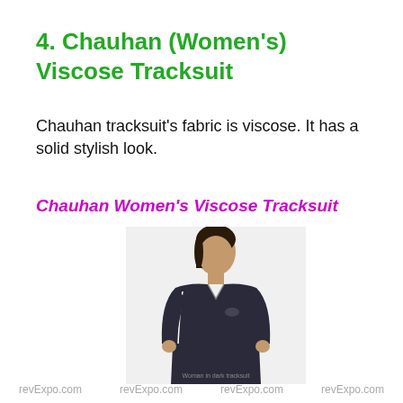4. Chauhan (Women's) Viscose Tracksuit
Chauhan tracksuit's fabric is viscose. It has a solid stylish look.
Chauhan Women's Viscose Tracksuit
[Figure (photo): Woman wearing a dark navy/black viscose tracksuit jacket, shown from waist up against a white background]
revExpo.com   revExpo.com   revExpo.com   revExpo.com